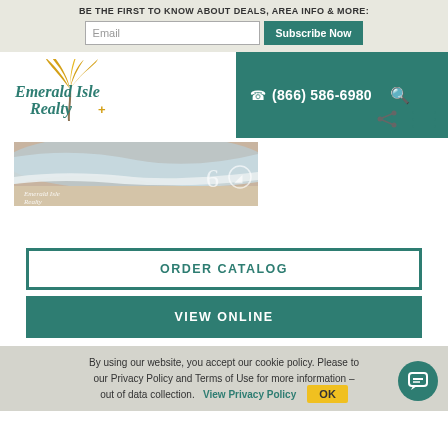BE THE FIRST TO KNOW ABOUT DEALS, AREA INFO & MORE:
Email
Subscribe Now
[Figure (logo): Emerald Isle Realty logo with palm tree graphic in gold/yellow and teal script text]
(866) 586-6980
[Figure (photo): Beach shoreline with waves and sand, Emerald Isle Realty logo overlay and 60th anniversary mark]
ORDER CATALOG
VIEW ONLINE
By using our website, you accept our cookie policy. Please to our Privacy Policy and Terms of Use for more information. out of data collection. View Privacy Policy OK